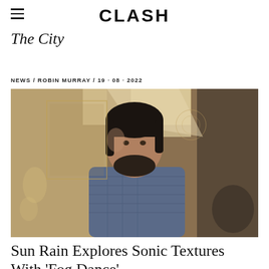CLASH
The City
NEWS / ROBIN MURRAY / 19 · 08 · 2022
[Figure (photo): A bearded man with dark hair wearing a plaid shirt, photographed indoors in a room with ornate chandelier and warm sunlight streaming in.]
Sun Rain Explores Sonic Textures With 'Fog Dance'